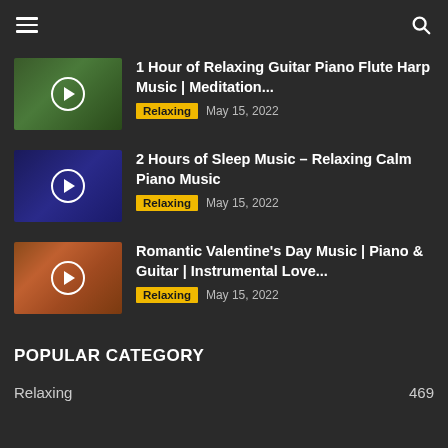Navigation header with hamburger menu and search icon
1 Hour of Relaxing Guitar Piano Flute Harp Music | Meditation... | Relaxing | May 15, 2022
2 Hours of Sleep Music – Relaxing Calm Piano Music | Relaxing | May 15, 2022
Romantic Valentine's Day Music | Piano & Guitar | Instrumental Love... | Relaxing | May 15, 2022
POPULAR CATEGORY
Relaxing  469